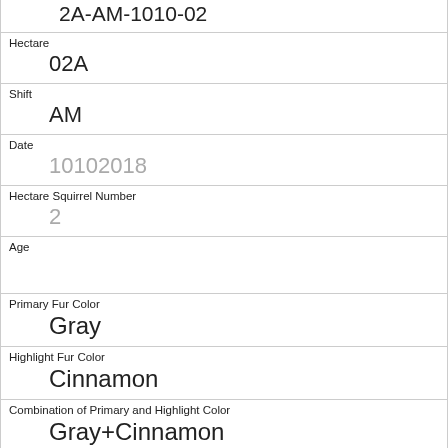| 2A-AM-1010-02 |
| Hectare | 02A |
| Shift | AM |
| Date | 10102018 |
| Hectare Squirrel Number | 2 |
| Age |  |
| Primary Fur Color | Gray |
| Highlight Fur Color | Cinnamon |
| Combination of Primary and Highlight Color | Gray+Cinnamon |
| Color notes |  |
| Location | Above Ground |